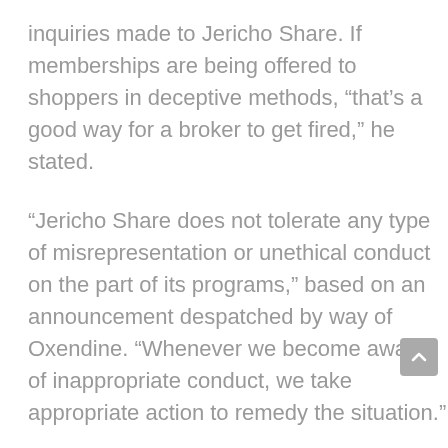inquiries made to Jericho Share. If memberships are being offered to shoppers in deceptive methods, “that’s a good way for a broker to get fired,” he stated.
“Jericho Share does not tolerate any type of misrepresentation or unethical conduct on the part of its programs,” based on an announcement despatched by way of Oxendine. “Whenever we become aware of inappropriate conduct, we take appropriate action to remedy the situation.”